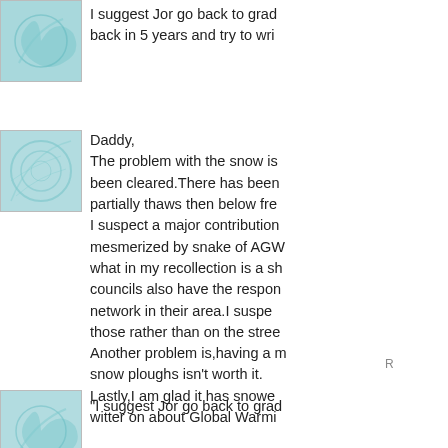[Figure (illustration): Teal/blue abstract swirl avatar thumbnail, partially visible at top]
I suggest Jor go back to grad... back in 5 years and try to wri...
[Figure (illustration): Teal/blue abstract swirl avatar thumbnail]
Daddy,
The problem with the snow is been cleared.There has been partially thaws then below fre... I suspect a major contribution mesmerized by snake of AGW... what in my recollection is a sh... councils also have the respon... network in their area.I suspe... those rather than on the stree... Another problem is,having a m... snow ploughs isn't worth it.
Lastly,I am glad it has snowe... witter on about Global Warmi...
[Figure (illustration): Teal/blue abstract swirl avatar thumbnail at bottom]
"I suggest Jor go back to grad...